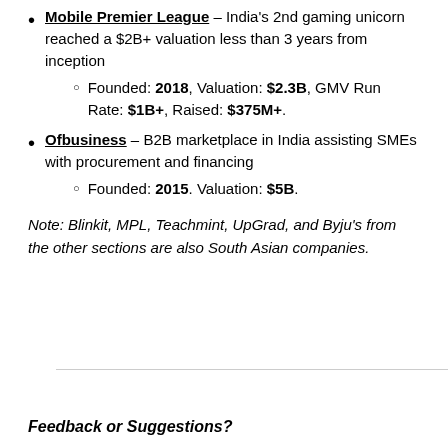Mobile Premier League – India's 2nd gaming unicorn reached a $2B+ valuation less than 3 years from inception
Founded: 2018, Valuation: $2.3B, GMV Run Rate: $1B+, Raised: $375M+.
Ofbusiness – B2B marketplace in India assisting SMEs with procurement and financing
Founded: 2015. Valuation: $5B.
Note: Blinkit, MPL, Teachmint, UpGrad, and Byju's from the other sections are also South Asian companies.
Feedback or Suggestions?